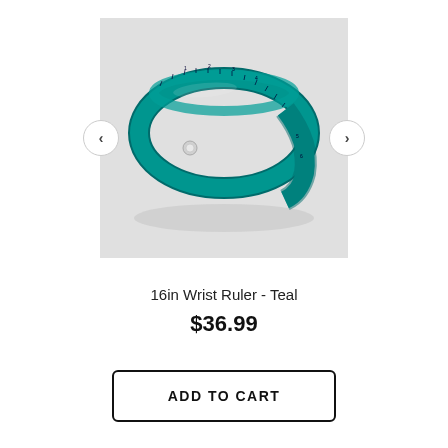[Figure (photo): A teal/turquoise leather wrist ruler bracelet coiled on itself, showing ruler markings. Navigation arrows (< >) are visible on the left and right sides of the image.]
16in Wrist Ruler - Teal
$36.99
ADD TO CART